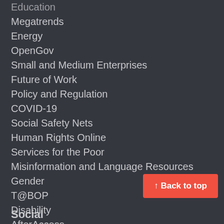Education
Megatrends
Energy
OpenGov
Small and Medium Enterprises
Future of Work
Policy and Regulation
COVID-19
Social Safety Nets
Human Rights Online
Services for the Poor
Misinformation and Language Resources
Gender
T@BOP
Disability
AfterAccess
CPRSouth
Disasters
↑ Back to top
Social